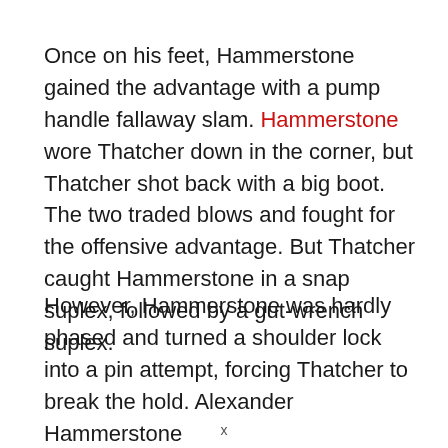Once on his feet, Hammerstone gained the advantage with a pump handle fallaway slam. Hammerstone wore Thatcher down in the corner, but Thatcher shot back with a big boot. The two traded blows and fought for the offensive advantage. But Thatcher caught Hammerstone in a snap suplex, followed by a gut-wrench suplex.
However, Hammerstone was hardly phased and turned a shoulder lock into a pin attempt, forcing Thatcher to break the hold. Alexander Hammerstone